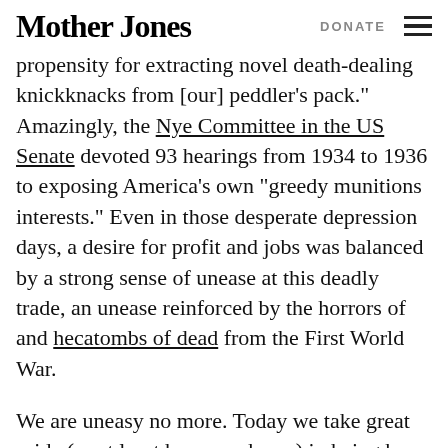Mother Jones | DONATE
propensity for extracting novel death-dealing knickknacks from [our] peddler's pack.” Amazingly, the Nye Committee in the US Senate devoted 93 hearings from 1934 to 1936 to exposing America’s own “greedy munitions interests.” Even in those desperate depression days, a desire for profit and jobs was balanced by a strong sense of unease at this deadly trade, an unease reinforced by the horrors of and hecatombs of dead from the First World War.
We are uneasy no more. Today we take great pride (or at least have no shame) in being by far the world’s number one arms-exporting nation. A few statistics bear this out. From 2006 to 2010, the US accounted for nearly one-third of the world’s arms